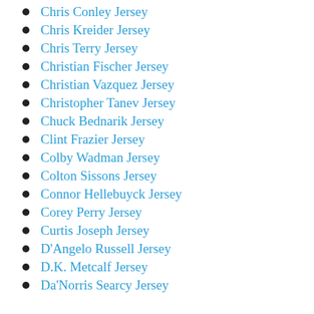Chris Conley Jersey
Chris Kreider Jersey
Chris Terry Jersey
Christian Fischer Jersey
Christian Vazquez Jersey
Christopher Tanev Jersey
Chuck Bednarik Jersey
Clint Frazier Jersey
Colby Wadman Jersey
Colton Sissons Jersey
Connor Hellebuyck Jersey
Corey Perry Jersey
Curtis Joseph Jersey
D'Angelo Russell Jersey
D.K. Metcalf Jersey
Da'Norris Searcy Jersey